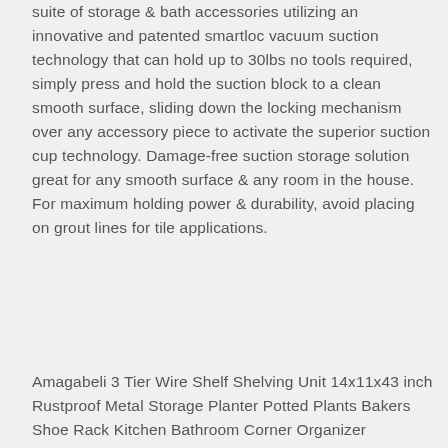suite of storage & bath accessories utilizing an innovative and patented smartloc vacuum suction technology that can hold up to 30lbs no tools required, simply press and hold the suction block to a clean smooth surface, sliding down the locking mechanism over any accessory piece to activate the superior suction cup technology. Damage-free suction storage solution great for any smooth surface & any room in the house. For maximum holding power & durability, avoid placing on grout lines for tile applications.
Amagabeli 3 Tier Wire Shelf Shelving Unit 14x11x43 inch Rustproof Metal Storage Planter Potted Plants Bakers Shoe Rack Kitchen Bathroom Corner Organizer Bookcase